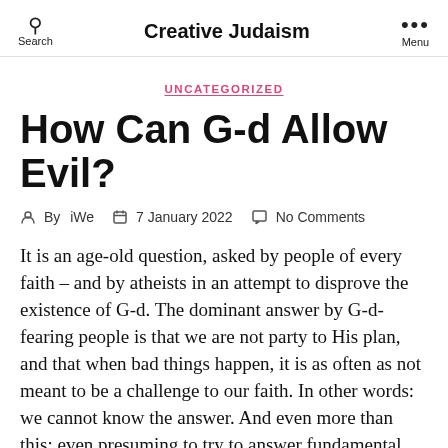Creative Judaism
UNCATEGORIZED
How Can G-d Allow Evil?
By iWe   7 January 2022   No Comments
It is an age-old question, asked by people of every faith – and by atheists in an attempt to disprove the existence of G-d. The dominant answer by G-d-fearing people is that we are not party to His plan, and that when bad things happen, it is as often as not meant to be a challenge to our faith. In other words: we cannot know the answer. And even more than this: even presuming to try to answer fundamental questions of this kind betray a